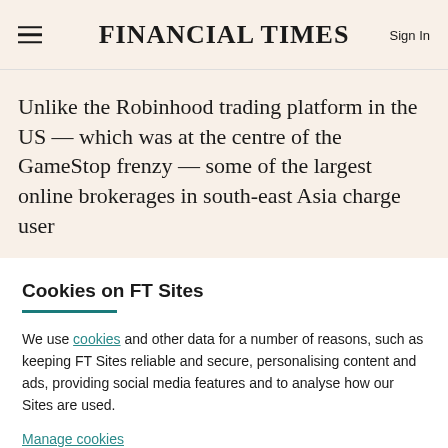FINANCIAL TIMES
Unlike the Robinhood trading platform in the US — which was at the centre of the GameStop frenzy — some of the largest online brokerages in south-east Asia charge user
Cookies on FT Sites
We use cookies and other data for a number of reasons, such as keeping FT Sites reliable and secure, personalising content and ads, providing social media features and to analyse how our Sites are used.
Manage cookies
Accept & continue